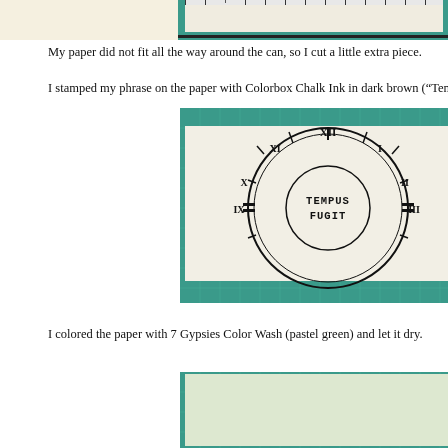[Figure (photo): Top portion of a photo showing paper on a cutting mat with ruler markings visible]
My paper did not fit all the way around the can, so I cut a little extra piece.
I stamped my phrase on the paper with Colorbox Chalk Ink in dark brown (“Tempus
[Figure (photo): Photo of white paper on a green cutting mat, showing a clock face stamp with Roman numerals and text TEMPUS FUGIT in the center]
I colored the paper with 7 Gypsies Color Wash (pastel green) and let it dry.
[Figure (photo): Photo of paper on a green cutting mat showing the same clock face stamp with TEMPUS visible, now with a light pastel green color wash applied]